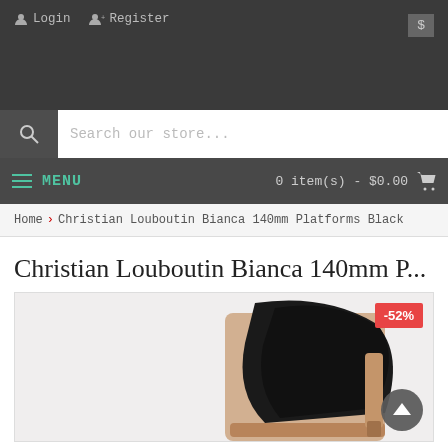Login  Register  $
Search our store...
MENU  0 item(s) - $0.00
Home › Christian Louboutin Bianca 140mm Platforms Black
Christian Louboutin Bianca 140mm P...
[Figure (photo): Product photo of Christian Louboutin Bianca 140mm Platforms Black high heel shoes, close-up showing black suede upper and tan/nude sole. A red discount badge shows -52% in the top right corner.]